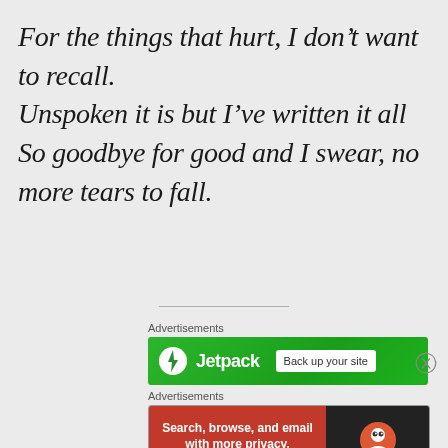For the things that hurt, I don’t want to recall. Unspoken it is but I’ve written it all So goodbye for good and I swear, no more tears to fall.
[Figure (infographic): Jetpack advertisement banner: green background with Jetpack logo and 'Back up your site' button]
Advertisements
[Figure (infographic): DuckDuckGo advertisement banner: red left side with 'Search, browse, and email with more privacy. All in One Free App' and dark right side with DuckDuckGo logo]